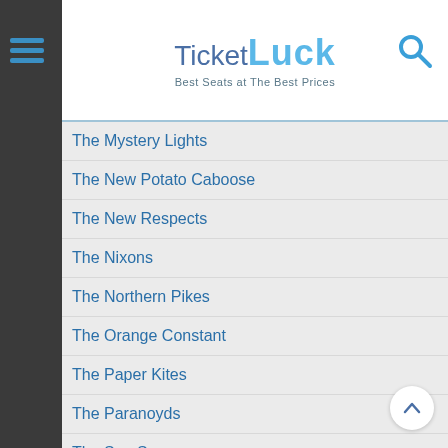TicketLuck — Best Seats at The Best Prices
The Mystery Lights
The New Potato Caboose
The New Respects
The Nixons
The Northern Pikes
The Orange Constant
The Paper Kites
The Paranoyds
The Sea Sea
The Shakedown
The Stickmen